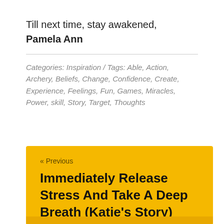Till next time, stay awakened,
Pamela Ann
Categories: Inspiration / Tags: Able, Action, Archery, Beliefs, Change, Confidence, Create, Experience, Feelings, Fun, Games, Miracles, Power, skill, Story, Target, Thoughts
« Previous
Immediately Release Stress And Take A Deep Breath (Katie's Story)